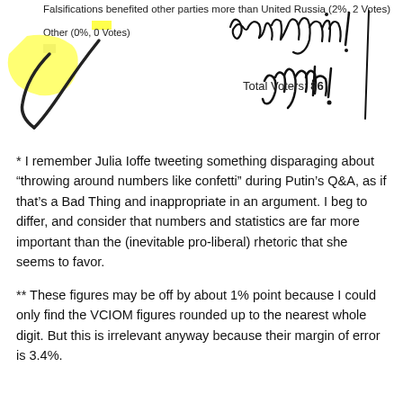Falsifications benefited other parties more than United Russia (2%, 2 Votes)
Other (0%, 0 Votes)
[Figure (illustration): Handwritten annotation in black ink reading 'gaussian yeah!' with exclamation mark, and a checkmark drawn in the left margin. A yellow highlight strip appears near one of the poll options.]
Total Voters: 86
* I remember Julia Ioffe tweeting something disparaging about “throwing around numbers like confetti” during Putin’s Q&A, as if that’s a Bad Thing and inappropriate in an argument. I beg to differ, and consider that numbers and statistics are far more important than the (inevitable pro-liberal) rhetoric that she seems to favor.
** These figures may be off by about 1% point because I could only find the VCIOM figures rounded up to the nearest whole digit. But this is irrelevant anyway because their margin of error is 3.4%.